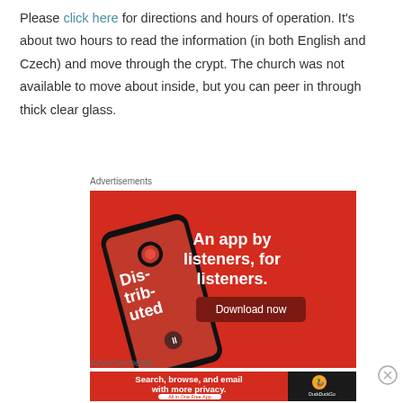Please click here for directions and hours of operation. It's about two hours to read the information (in both English and Czech) and move through the crypt. The church was not available to move about inside, but you can peer in through thick clear glass.
Advertisements
[Figure (other): Advertisement banner for a podcast app: red background with smartphone showing 'Dis-trib-uted' podcast art, text reads 'An app by listeners, for listeners.' with 'Download now' button]
Advertisements
[Figure (other): DuckDuckGo advertisement banner: red background with text 'Search, browse, and email with more privacy. All in One Free App' and DuckDuckGo logo on dark right panel]